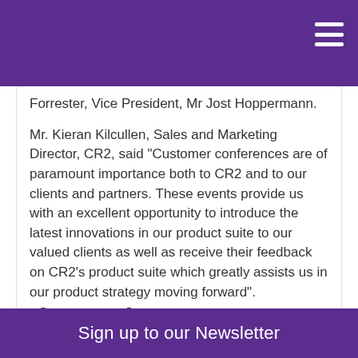Forrester, Vice President, Mr Jost Hoppermann.
Mr. Kieran Kilcullen, Sales and Marketing Director, CR2, said "Customer conferences are of paramount importance both to CR2 and to our clients and partners. These events provide us with an excellent opportunity to introduce the latest innovations in our product suite to our valued clients as well as receive their feedback on CR2's product suite which greatly assists us in our product strategy moving forward".
View other announcements
Sign up to our Newsletter